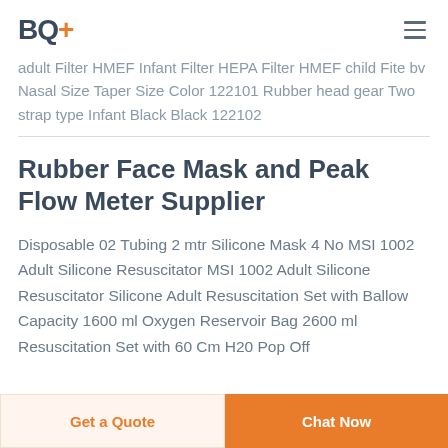BQ+
adult Filter HMEF Infant Filter HEPA Filter HMEF child Fite bv Nasal Size Taper Size Color 122101 Rubber head gear Two strap type Infant Black Black 122102
Rubber Face Mask and Peak Flow Meter Supplier
Disposable 02 Tubing 2 mtr Silicone Mask 4 No MSI 1002 Adult Silicone Resuscitator MSI 1002 Adult Silicone Resuscitator Silicone Adult Resuscitation Set with Ballow Capacity 1600 ml Oxygen Reservoir Bag 2600 ml Resuscitation Set with 60 Cm H20 Pop Off
Get a Quote | Chat Now